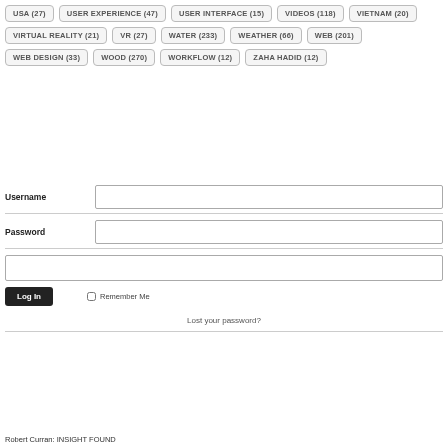USA (27)
USER EXPERIENCE (47)
USER INTERFACE (15)
VIDEOS (118)
VIETNAM (20)
VIRTUAL REALITY (21)
VR (27)
WATER (233)
WEATHER (66)
WEB (201)
WEB DESIGN (33)
WOOD (270)
WORKFLOW (12)
ZAHA HADID (12)
Username
Password
Log In
Remember Me
Lost your password?
Robert Curran: INSIGHT FOUND